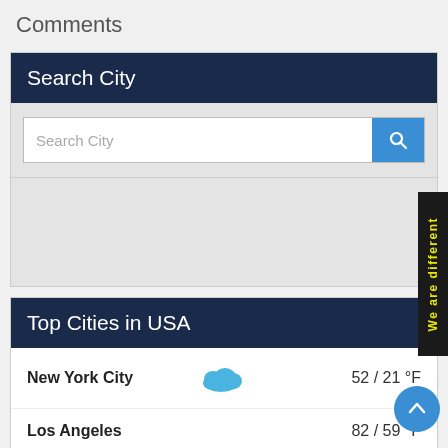Comments
Search City
[Figure (screenshot): Search City input box with text placeholder 'Search City' and a blue search button with magnifying glass icon]
Top Cities in USA
| City | Icon | Temperature |
| --- | --- | --- |
| New York City | [cloud icon] | 52 / 21 °F |
| Los Angeles |  | 82 / 59 °F |
| Chicago | [moon icon] | 20 / 13 °F |